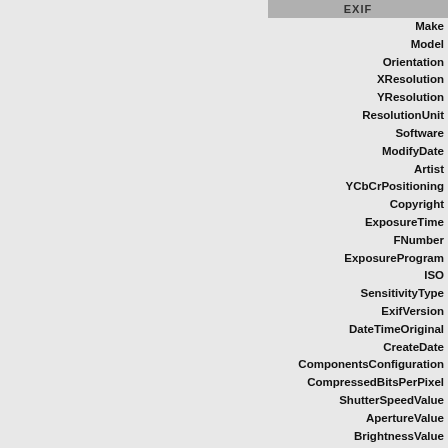EXIF
Make
Model
Orientation
XResolution
YResolution
ResolutionUnit
Software
ModifyDate
Artist
YCbCrPositioning
Copyright
ExposureTime
FNumber
ExposureProgram
ISO
SensitivityType
ExifVersion
DateTimeOriginal
CreateDate
ComponentsConfiguration
CompressedBitsPerPixel
ShutterSpeedValue
ApertureValue
BrightnessValue
ExposureCompensation
MaxApertureValue
MeteringMode